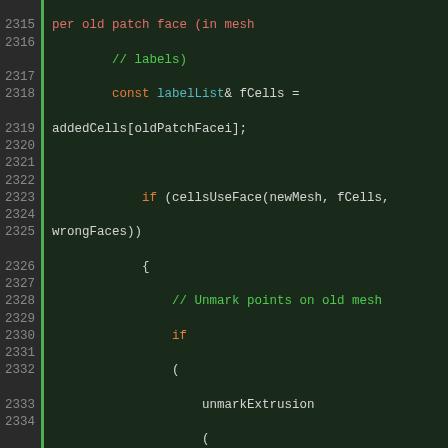[Figure (screenshot): Source code listing in dark theme editor showing C++ code lines 2314-2341, with line numbers in left gutter, syntax highlighting in green, orange, cyan, and default light colors on dark background.]